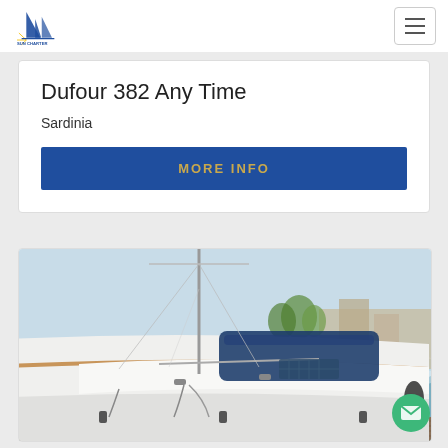Sun Charter logo and navigation menu
Dufour 382 Any Time
Sardinia
MORE INFO
[Figure (photo): Sailboat docked at marina, viewed from deck level showing cockpit with blue bimini cover, deck lines, and sparkling water in background]